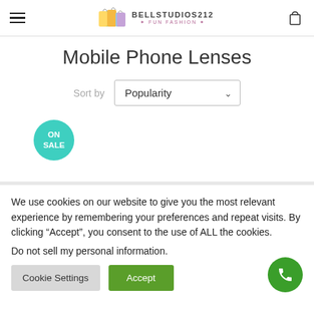BELLSTUDIOS212 FUN FASHION
Mobile Phone Lenses
Sort by Popularity
[Figure (infographic): ON SALE circular teal badge]
We use cookies on our website to give you the most relevant experience by remembering your preferences and repeat visits. By clicking “Accept”, you consent to the use of ALL the cookies.
Do not sell my personal information.
Cookie Settings | Accept